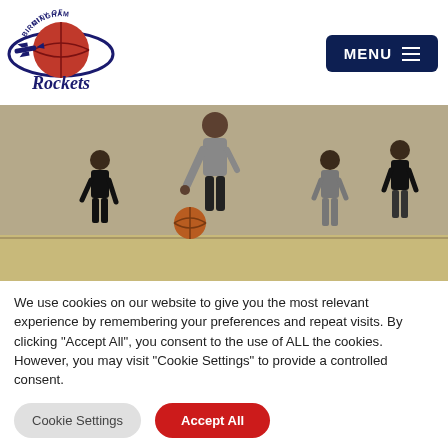[Figure (logo): City of Birmingham Rockets logo — red basketball with orbit ring, dark navy text 'CITY OF BIRMINGHAM' arc above and 'Rockets' cursive text below]
[Figure (photo): Indoor basketball court scene with several players; central player in gray shirt dribbling a basketball, others in background near wall]
We use cookies on our website to give you the most relevant experience by remembering your preferences and repeat visits. By clicking “Accept All”, you consent to the use of ALL the cookies. However, you may visit “Cookie Settings” to provide a controlled consent.
Cookie Settings
Accept All